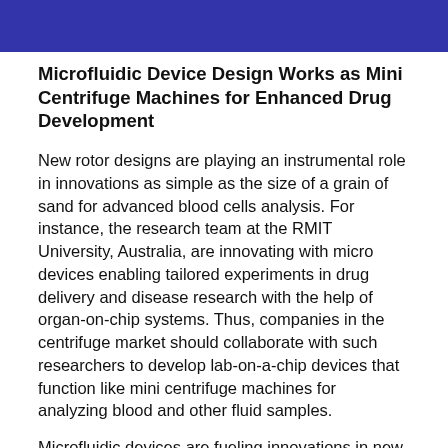Microfluidic Device Design Works as Mini Centrifuge Machines for Enhanced Drug Development
New rotor designs are playing an instrumental role in innovations as simple as the size of a grain of sand for advanced blood cells analysis. For instance, the research team at the RMIT University, Australia, are innovating with micro devices enabling tailored experiments in drug delivery and disease research with the help of organ-on-chip systems. Thus, companies in the centrifuge market should collaborate with such researchers to develop lab-on-a-chip devices that function like mini centrifuge machines for analyzing blood and other fluid samples.
Microfluidic devices are fueling innovations in new chip technologies by eliminating the need for large volume samples. These innovations are playing a key role in the study of cardiovascular diseases. The device's soft spherical cavities are being used to mimic 3D (Three